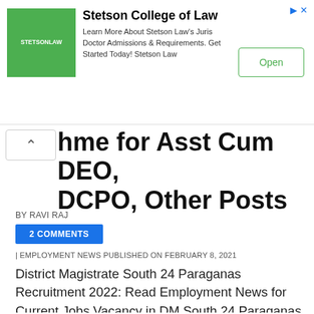[Figure (other): Stetson College of Law advertisement banner with green logo, ad text about Juris Doctor Admissions, and an Open button]
hme for Asst Cum DEO, DCPO, Other Posts
BY RAVI RAJ
2 COMMENTS
| EMPLOYMENT NEWS PUBLISHED ON FEBRUARY 8, 2021
District Magistrate South 24 Paraganas Recruitment 2022: Read Employment News for Current Jobs Vacancy in DM South 24 Paraganas, West Bengal. Get Latest Jobs Notification for District Magistrate South 24 Paraganas Career Vacancies 2022. Find Upcoming DM Jobs in District Magistrate South 24 Paraganas …View Full Job...